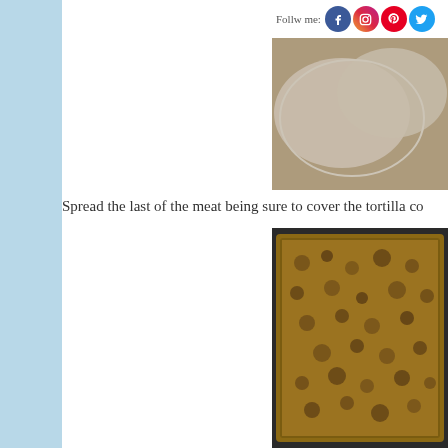[Figure (photo): Top photo showing tortillas layered over meat mixture in a baking dish with social media icons overlay]
Spread the last of the meat being sure to cover the tortilla co
[Figure (photo): Bottom photo showing ground meat and bean mixture spread in a glass baking dish]